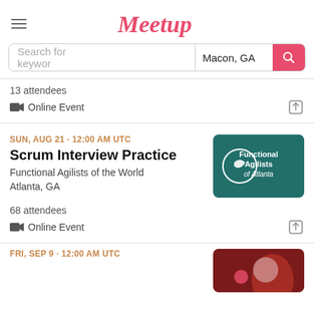Meetup
Search for keywords | Macon, GA
13 attendees
Online Event
SUN, AUG 21 · 12:00 AM UTC
Scrum Interview Practice
Functional Agilists of the World
Atlanta, GA
[Figure (photo): Functional Agilists of Atlanta logo — dark teal background with a circular icon and text 'Functional Agilists of Atlanta']
68 attendees
Online Event
FRI, SEP 9 · 12:00 AM UTC
[Figure (photo): Dark red background with a woman's portrait and heart graphics]